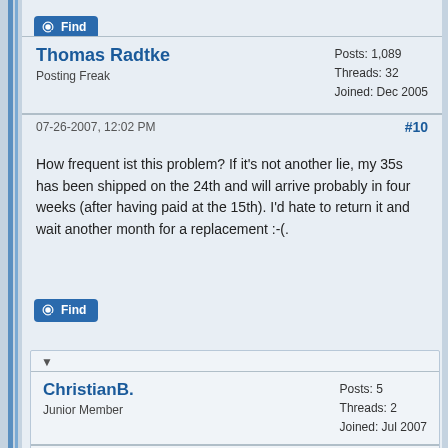[Figure (screenshot): Find button with magnifying glass icon, blue background]
Thomas Radtke
Posting Freak
Posts: 1,089
Threads: 32
Joined: Dec 2005
07-26-2007, 12:02 PM
#10
How frequent ist this problem? If it's not another lie, my 35s has been shipped on the 24th and will arrive probably in four weeks (after having paid at the 15th). I'd hate to return it and wait another month for a replacement :-(.
[Figure (screenshot): Find button with magnifying glass icon, blue background]
ChristianB.
Junior Member
Posts: 5
Threads: 2
Joined: Jul 2007
07-26-2007, 03:09 PM
#11